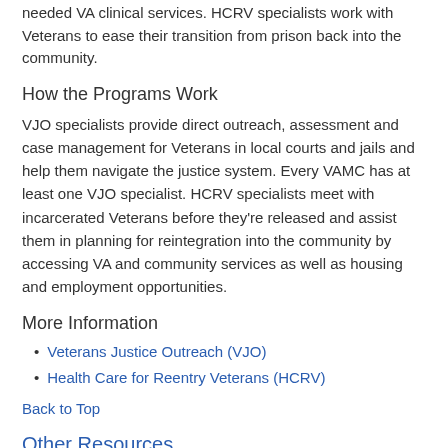needed VA clinical services. HCRV specialists work with Veterans to ease their transition from prison back into the community.
How the Programs Work
VJO specialists provide direct outreach, assessment and case management for Veterans in local courts and jails and help them navigate the justice system. Every VAMC has at least one VJO specialist. HCRV specialists meet with incarcerated Veterans before they're released and assist them in planning for reintegration into the community by accessing VA and community services as well as housing and employment opportunities.
More Information
Veterans Justice Outreach (VJO)
Health Care for Reentry Veterans (HCRV)
Back to Top
Other Resources
Community Resource and Referral Centers (CRRCs)
CRRCs provide Veterans who are homeless and at risk of